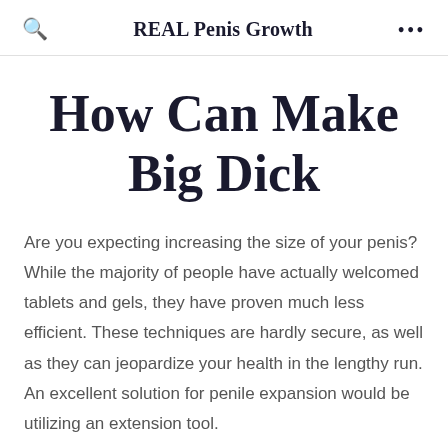REAL Penis Growth
How Can Make Big Dick
Are you expecting increasing the size of your penis? While the majority of people have actually welcomed tablets and gels, they have proven much less efficient. These techniques are hardly secure, as well as they can jeopardize your health in the lengthy run. An excellent solution for penile expansion would be utilizing an extension tool.